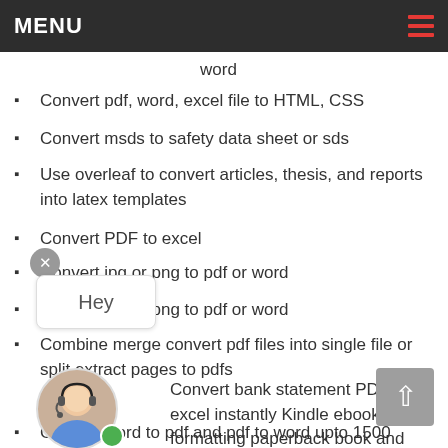MENU
word
Convert pdf, word, excel file to HTML, CSS
Convert msds to safety data sheet or sds
Use overleaf to convert articles, thesis, and reports into latex templates
Convert PDF to excel
Convert jpg or png to pdf or word
Convert jpg or png to pdf or word
Combine merge convert pdf files into single file or split extract pages to pdfs
Convert bank statement PDF to excel instantly
Kindle ebook formatting paperback book and novel formatting
Convert word to pdf and pdf to word upto 1500 pages in 3hr
Convert PDF to excel, conversation pdf, excel, or